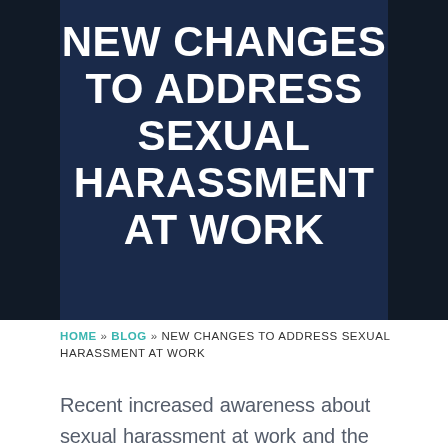NEW CHANGES TO ADDRESS SEXUAL HARASSMENT AT WORK
HOME » BLOG » NEW CHANGES TO ADDRESS SEXUAL HARASSMENT AT WORK
Recent increased awareness about sexual harassment at work and the